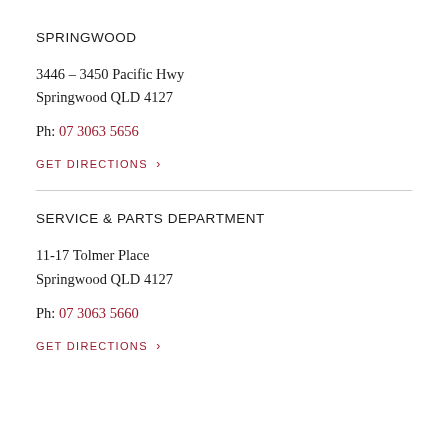SPRINGWOOD
3446 – 3450 Pacific Hwy
Springwood QLD 4127
Ph: 07 3063 5656
GET DIRECTIONS >
SERVICE & PARTS DEPARTMENT
11-17 Tolmer Place
Springwood QLD 4127
Ph: 07 3063 5660
GET DIRECTIONS >